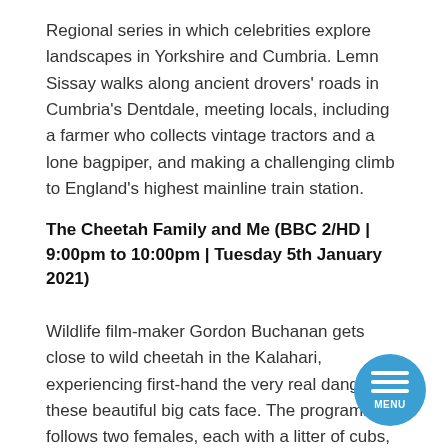Regional series in which celebrities explore landscapes in Yorkshire and Cumbria. Lemn Sissay walks along ancient drovers' roads in Cumbria's Dentdale, meeting locals, including a farmer who collects vintage tractors and a lone bagpiper, and making a challenging climb to England's highest mainline train station.
The Cheetah Family and Me (BBC 2/HD | 9:00pm to 10:00pm | Tuesday 5th January 2021)
Wildlife film-maker Gordon Buchanan gets close to wild cheetah in the Kalahari, experiencing first-hand the very real dangers these beautiful big cats face. The programme follows two females, each with a litter of cubs, as they navigate a harsh environment, dangerous wildlife and dwindling prey. Part one of two.